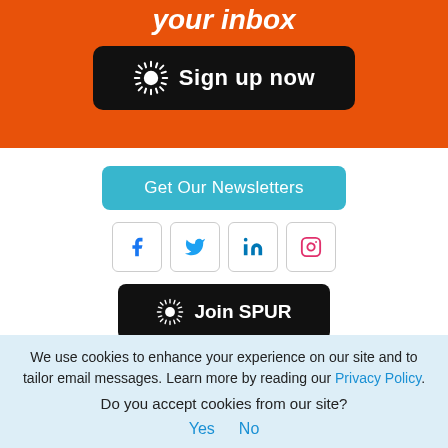your inbox
[Figure (other): Sign up now button with sun/starburst logo on black rounded rectangle background on orange banner]
[Figure (other): Get Our Newsletters button in teal/cyan rounded rectangle]
[Figure (other): Social media icon buttons: Facebook, Twitter, LinkedIn, Instagram in rounded square borders]
[Figure (other): Join SPUR button with sun/starburst logo on black rounded rectangle]
SPUR Urban Center, 654 Mission Street, San Francisco, CA 94105-4015 |
We use cookies to enhance your experience on our site and to tailor email messages. Learn more by reading our Privacy Policy.
Do you accept cookies from our site?
Yes  No